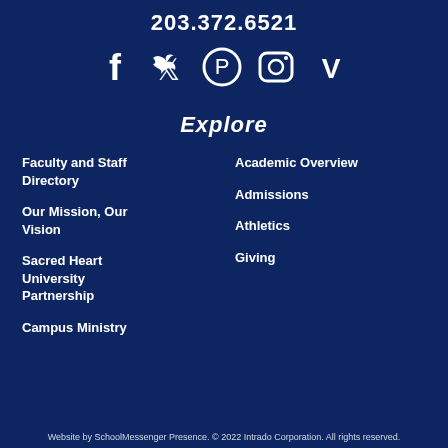203.372.6521
[Figure (illustration): Social media icons: Facebook, Twitter, Pinterest, Instagram, Vimeo]
Explore
Faculty and Staff Directory
Our Mission, Our Vision
Sacred Heart University Partnership
Campus Ministry
Academic Overview
Admissions
Athletics
Giving
Website by SchoolMessenger Presence. © 2022 Intrado Corporation. All rights reserved.